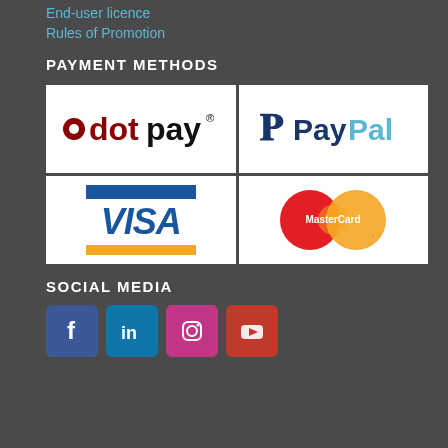End-user licence
Rules of Promotion
PAYMENT METHODS
[Figure (logo): Payment method logos: dotpay, PayPal, Visa, MasterCard arranged in a 2x2 grid]
SOCIAL MEDIA
[Figure (infographic): Social media icons: Facebook, LinkedIn, Instagram, YouTube]